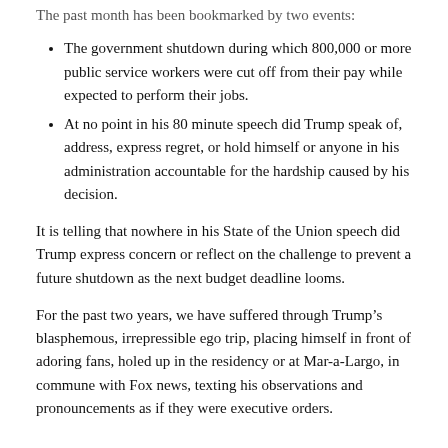The past month has been bookmarked by two events:
The government shutdown during which 800,000 or more public service workers were cut off from their pay while expected to perform their jobs.
At no point in his 80 minute speech did Trump speak of, address, express regret, or hold himself or anyone in his administration accountable for the hardship caused by his decision.
It is telling that nowhere in his State of the Union speech did Trump express concern or reflect on the challenge to prevent a future shutdown as the next budget deadline looms.
For the past two years, we have suffered through Trump’s blasphemous, irrepressible ego trip, placing himself in front of adoring fans, holed up in the residency or at Mar-a-Largo, in commune with Fox news, texting his observations and pronouncements as if they were executive orders.